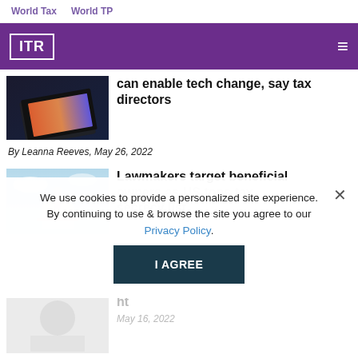World Tax   World TP
[Figure (logo): ITR logo in white on purple background with hamburger menu icon]
[Figure (photo): Laptop/tablet with colorful abstract light reflection]
can enable tech change, say tax directors
By Leanna Reeves, May 26, 2022
[Figure (photo): US Capitol building against blue sky]
Lawmakers target beneficial owners as US tops tax secrecy list
We use cookies to provide a personalized site experience. By continuing to use & browse the site you agree to our Privacy Policy.
I AGREE
[Figure (photo): Person with documents, blurred/faded]
...ht
May 16, 2022